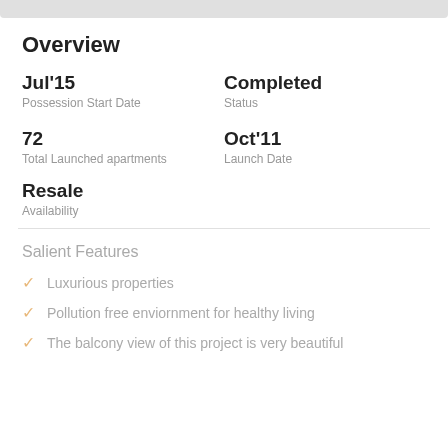Overview
Jul'15
Possession Start Date
Completed
Status
72
Total Launched apartments
Oct'11
Launch Date
Resale
Availability
Salient Features
Luxurious properties
Pollution free enviornment for healthy living
The balcony view of this project is very beautiful